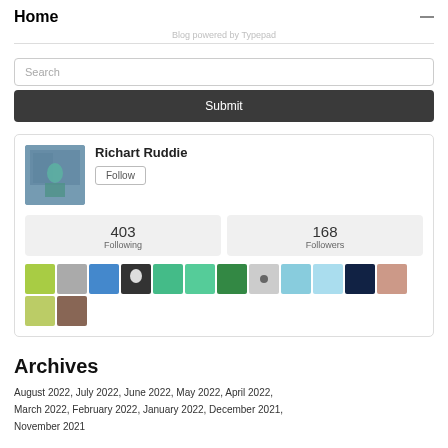Home
Blog powered by Typepad
Search
Submit
[Figure (other): Profile card for Richart Ruddie showing avatar photo, Follow button, 403 Following count, 168 Followers count, and a row of follower avatar thumbnails]
Archives
August 2022, July 2022, June 2022, May 2022, April 2022, March 2022, February 2022, January 2022, December 2021, November 2021